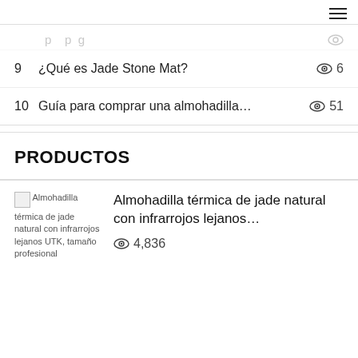≡ (hamburger menu icon)
9  ¿Qué es Jade Stone Mat?  👁 6
10  Guía para comprar una almohadilla...  👁 51
PRODUCTOS
[Figure (photo): Broken image thumbnail for Almohadilla térmica de jade natural con infrarrojos lejanos UTK, tamaño profesional]
Almohadilla térmica de jade natural con infrarrojos lejanos…  👁 4,836